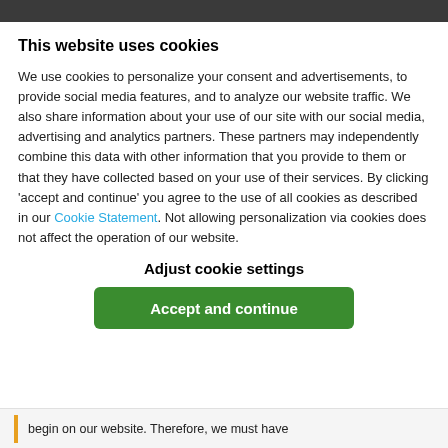This website uses cookies
We use cookies to personalize your consent and advertisements, to provide social media features, and to analyze our website traffic. We also share information about your use of our site with our social media, advertising and analytics partners. These partners may independently combine this data with other information that you provide to them or that they have collected based on your use of their services. By clicking 'accept and continue' you agree to the use of all cookies as described in our Cookie Statement. Not allowing personalization via cookies does not affect the operation of our website.
Adjust cookie settings
Accept and continue
begin on our website. Therefore, we must have